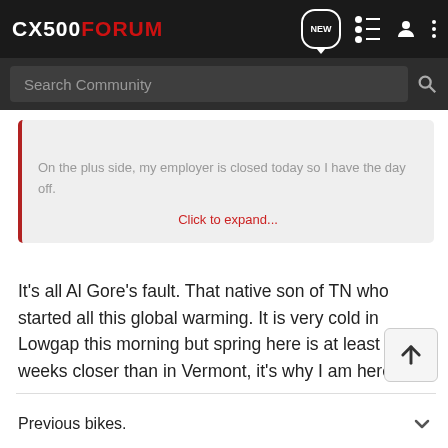CX500FORUM
On the plus side, my employer is closed today so I have the day off.
Click to expand...
It's all Al Gore's fault. That native son of TN who started all this global warming. It is very cold in Lowgap this morning but spring here is at least six weeks closer than in Vermont, it's why I am here.
Previous bikes.